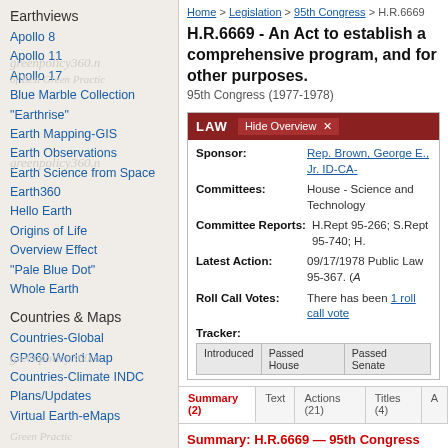Earthviews
Apollo 8
Apollo 11
Apollo 17
Blue Marble Collection
"Earthrise"
Earth Mapping-GIS
Earth Observations
Earth Science from Space
Earth360
Hello Earth
Origins of Life
Overview Effect
"Pale Blue Dot"
Whole Earth
Countries & Maps
Countries-Global
GP360 World Map
Countries-Climate INDC Plans/Updates
Virtual Earth-eMaps
Home > Legislation > 95th Congress > H.R.6669
H.R.6669 - An Act to establish a comprehensive program, and for other purposes.
95th Congress (1977-1978)
| Field | Value |
| --- | --- |
| Sponsor: | Rep. Brown, George E., Jr. ID-CA- |
| Committees: | House - Science and Technology |
| Committee Reports: | H.Rept 95-266; S.Rept 95-740; H. |
| Latest Action: | 09/17/1978 Public Law 95-367. (A |
| Roll Call Votes: | There has been 1 roll call vote |
Tracker: Introduced | Passed House | Passed Senate
Summary (2) | Text | Actions (21) | Titles (4) | A...
Summary: H.R.6669 — 95th Congress (197...
Listen to this page